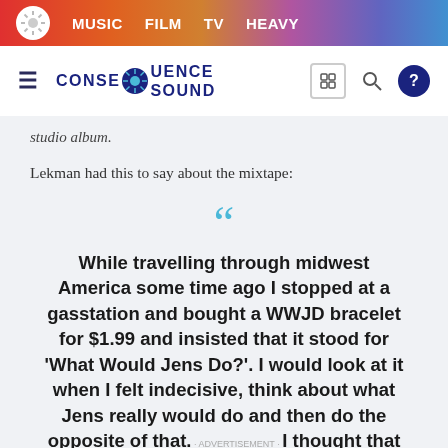MUSIC  FILM  TV  HEAVY
CONSEQUENCE SOUND
studio album.
Lekman had this to say about the mixtape:
While travelling through midwest America some time ago I stopped at a gasstation and bought a WWJD bracelet for $1.99 and insisted that it stood for 'What Would Jens Do?'. I would look at it when I felt indecisive, think about what Jens really would do and then do the opposite of that. I thought that would be a good way to find some new paths in life, and to get away from the paths I kept taking that didn't lead me anywhere